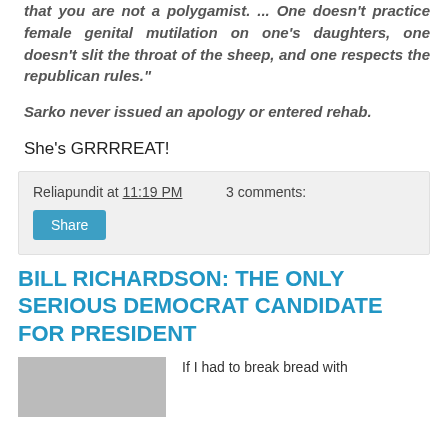that you are not a polygamist. ... One doesn't practice female genital mutilation on one's daughters, one doesn't slit the throat of the sheep, and one respects the republican rules."
Sarko never issued an apology or entered rehab.
She's GRRRREAT!
Reliapundit at 11:19 PM   3 comments:
Share
BILL RICHARDSON: THE ONLY SERIOUS DEMOCRAT CANDIDATE FOR PRESIDENT
If I had to break bread with